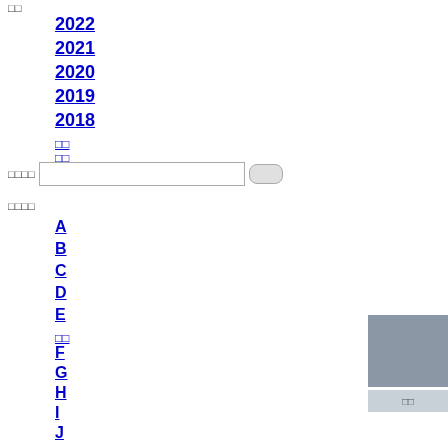□□
2022
2021
2020
2019
2018
□□
□□
□□□□
□□□□
A
B
C
D
E
□□
F
G
H
I
J
K
L
M
N